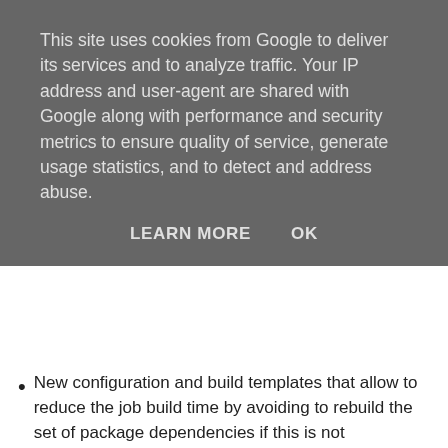This site uses cookies from Google to deliver its services and to analyze traffic. Your IP address and user-agent are shared with Google along with performance and security metrics to ensure quality of service, generate usage statistics, and to detect and address abuse.
LEARN MORE   OK
New configuration and build templates that allow to reduce the job build time by avoiding to rebuild the set of package dependencies if this is not necessary. This has an important implication: A code change in one package (e.g. Horde_Imap_Client) will be tested against unchanged dependencies (e.g. Horde_Mime). Even if the commit also touched one or several of the dependencies (e.g. Horde_Mime). The packages should be backward compatible - so this should result in no error. The dependencies of one package will only get updated in case the dependency list in the package.xml of that